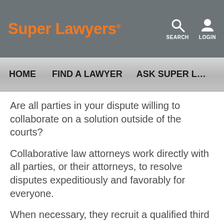Super Lawyers
HOME   FIND A LAWYER   ASK SUPER L…
Are all parties in your dispute willing to collaborate on a solution outside of the courts?
Collaborative law attorneys work directly with all parties, or their attorneys, to resolve disputes expeditiously and favorably for everyone.
When necessary, they recruit a qualified third party to sit in on negotiations, in order to reach a satisfactory solution.
Once an agreement is reached, your attorney will put it in writing and get it approved by a judge who makes it a binding court order.
If you're seeking assistance with negotiation or mediation,